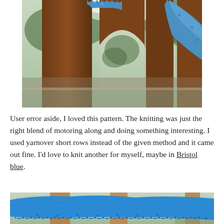[Figure (photo): Close-up photograph of a blue knitted shawl draped over a wooden chair, with trees visible in the background.]
User error aside, I loved this pattern. The knitting was just the right blend of motoring along and doing something interesting. I used yarnover short rows instead of the given method and it came out fine. I'd love to knit another for myself, maybe in Bristol blue.
[Figure (photo): Photograph of a bright blue knitted shawl laid flat on a wooden surface, showing lace detail along the edge.]